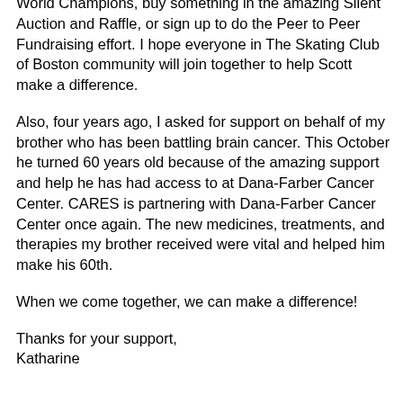World Champions, buy something in the amazing Silent Auction and Raffle, or sign up to do the Peer to Peer Fundraising effort. I hope everyone in The Skating Club of Boston community will join together to help Scott make a difference.
Also, four years ago, I asked for support on behalf of my brother who has been battling brain cancer. This October he turned 60 years old because of the amazing support and help he has had access to at Dana-Farber Cancer Center. CARES is partnering with Dana-Farber Cancer Center once again. The new medicines, treatments, and therapies my brother received were vital and helped him make his 60th.
When we come together, we can make a difference!
Thanks for your support,
Katharine